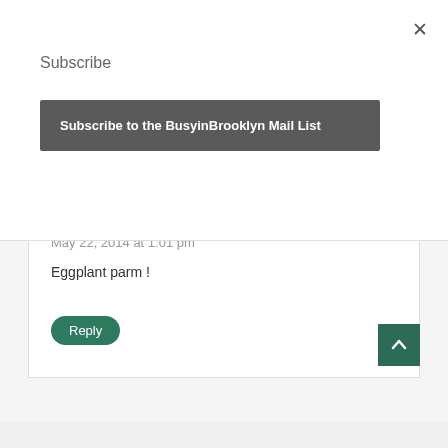Subscribe
Subscribe to the BusyinBrooklyn Mail List
online! Deff became a shevuos staple
Reply
Tammy Greenberg
May 22, 2014 at 1:01 pm
Eggplant parm !
Reply